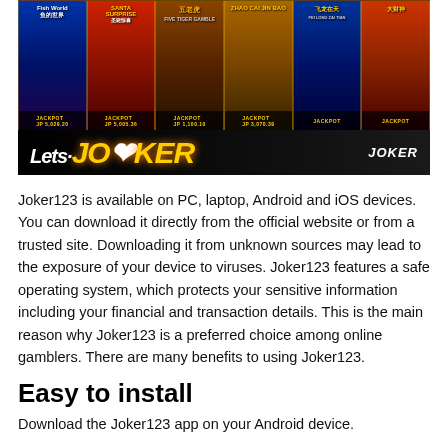[Figure (screenshot): Joker123 / LetsJoker gaming platform banner showing multiple slot game thumbnails (Fish World, Santa Surprise, Five Tigers, Zhao Cai Jin Bao, Fei Long Zai Tian, and another game) with JACKPOT labels, and the LetsJoker logo at the bottom.]
Joker123 is available on PC, laptop, Android and iOS devices. You can download it directly from the official website or from a trusted site. Downloading it from unknown sources may lead to the exposure of your device to viruses. Joker123 features a safe operating system, which protects your sensitive information including your financial and transaction details. This is the main reason why Joker123 is a preferred choice among online gamblers. There are many benefits to using Joker123.
Easy to install
Download the Joker123 app on your Android device.